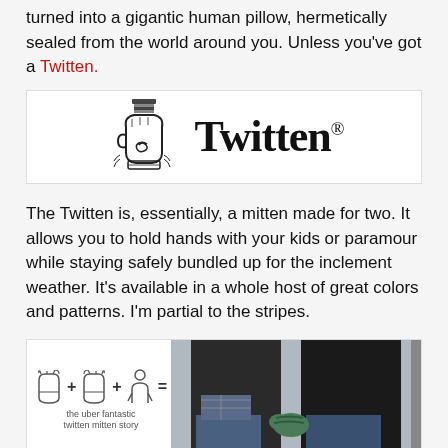turned into a gigantic human pillow, hermetically sealed from the world around you. Unless you've got a Twitten.
[Figure (logo): Twitten logo: cartoon mitten illustration on the left and stylized 'Twitten' brand name text on the right with a registered trademark symbol]
The Twitten is, essentially, a mitten made for two. It allows you to hold hands with your kids or paramour while staying safely bundled up for the inclement weather. It's available in a whole host of great colors and patterns. I'm partial to the stripes.
[Figure (photo): Composite image: left side shows a formula-style illustration of two gloves plus a figure equaling something, with a small text label below; right side shows a photo of two people (seen from behind) holding hands while wearing a shared mitten, dressed in winter coats and jeans.]
For those of you who don't want to be all touchy-feely, they